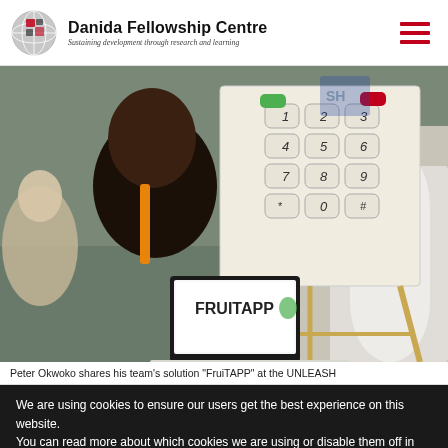Danida Fellowship Centre — Sustaining development through research and learning
[Figure (photo): Photo of Peter Okwoko sitting at a table with a laptop displaying 'FRUITAPP' logo, behind him a large cardboard mockup of a phone keypad on an easel, at a crowded indoor event.]
Peter Okwoko shares his team's solution "FruiTAPP" at the UNLEASH
We are using cookies to ensure our users get the best experience on this website.
You can read more about which cookies we are using or disable them off in settings.
Accept